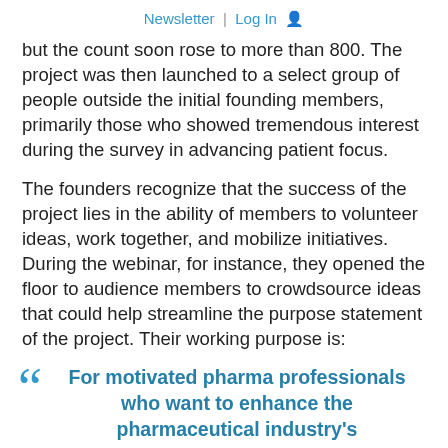Newsletter  |  Log In
but the count soon rose to more than 800. The project was then launched to a select group of people outside the initial founding members, primarily those who showed tremendous interest during the survey in advancing patient focus.
The founders recognize that the success of the project lies in the ability of members to volunteer ideas, work together, and mobilize initiatives. During the webinar, for instance, they opened the floor to audience members to crowdsource ideas that could help streamline the purpose statement of the project. Their working purpose is:
For motivated pharma professionals who want to enhance the pharmaceutical industry's